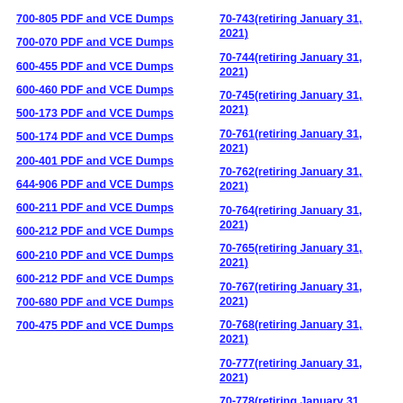700-805 PDF and VCE Dumps
70-743(retiring January 31, 2021)
700-070 PDF and VCE Dumps
70-744(retiring January 31, 2021)
600-455 PDF and VCE Dumps
70-745(retiring January 31, 2021)
600-460 PDF and VCE Dumps
70-761(retiring January 31, 2021)
500-173 PDF and VCE Dumps
70-762(retiring January 31, 2021)
500-174 PDF and VCE Dumps
70-764(retiring January 31, 2021)
200-401 PDF and VCE Dumps
70-765(retiring January 31, 2021)
644-906 PDF and VCE Dumps
70-767(retiring January 31, 2021)
600-211 PDF and VCE Dumps
70-768(retiring January 31, 2021)
600-212 PDF and VCE Dumps
70-777(retiring January 31, 2021)
600-210 PDF and VCE Dumps
70-778(retiring January 31, 2021)
600-212 PDF and VCE Dumps
70-779(retiring January 31, 2021)
700-680 PDF and VCE Dumps
MB2-716(retiring January 31, 2021)